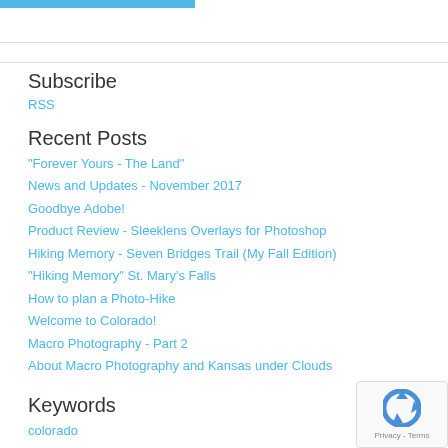Subscribe
RSS
Recent Posts
"Forever Yours - The Land"
News and Updates - November 2017
Goodbye Adobe!
Product Review - Sleeklens Overlays for Photoshop
Hiking Memory - Seven Bridges Trail (My Fall Edition)
"Hiking Memory" St. Mary's Falls
How to plan a Photo-Hike
Welcome to Colorado!
Macro Photography - Part 2
About Macro Photography and Kansas under Clouds
Keywords
colorado
colorado springs
[Figure (logo): reCAPTCHA badge with Privacy - Terms]